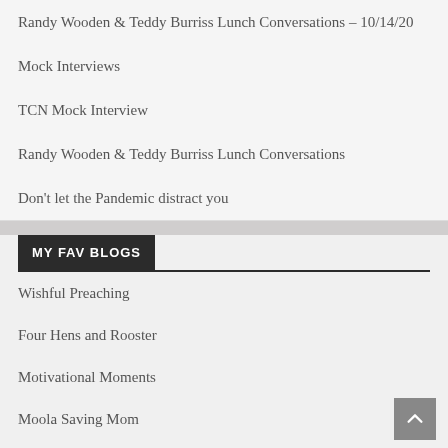Randy Wooden & Teddy Burriss Lunch Conversations – 10/14/20
Mock Interviews
TCN Mock Interview
Randy Wooden & Teddy Burriss Lunch Conversations
Don't let the Pandemic distract you
MY FAV BLOGS
Wishful Preaching
Four Hens and Rooster
Motivational Moments
Moola Saving Mom